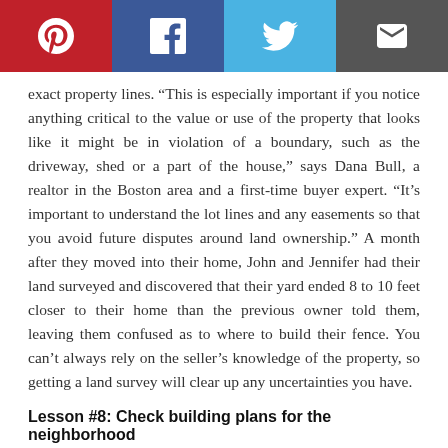[Figure (other): Social sharing bar with Pinterest, Facebook, Twitter, and Email buttons]
exact property lines. “This is especially important if you notice anything critical to the value or use of the property that looks like it might be in violation of a boundary, such as the driveway, shed or a part of the house,” says Dana Bull, a realtor in the Boston area and a first-time buyer expert. “It’s important to understand the lot lines and any easements so that you avoid future disputes around land ownership.” A month after they moved into their home, John and Jennifer had their land surveyed and discovered that their yard ended 8 to 10 feet closer to their home than the previous owner told them, leaving them confused as to where to build their fence. You can’t always rely on the seller’s knowledge of the property, so getting a land survey will clear up any uncertainties you have.
Lesson #8: Check building plans for the neighborhood
Before committing to a purchase, find out if there are